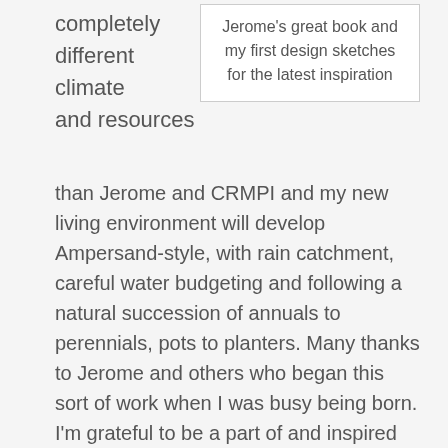completely different climate and resources
Jerome's great book and my first design sketches for the latest inspiration
than Jerome and CRMPI and my new living environment will develop Ampersand-style, with rain catchment, careful water budgeting and following a natural succession of annuals to perennials, pots to planters. Many thanks to Jerome and others who began this sort of work when I was busy being born. I'm grateful to be a part of and inspired by this creative community who make me feel like I'm just getting started. What a gift! But First… This weekend we embark upon our natural building extravaganza to erect an entry room and napnest for our earth bermed solar home. Join us! We are still accepting work-trade positions and hosting local folks to volunteer for a weekend or two.